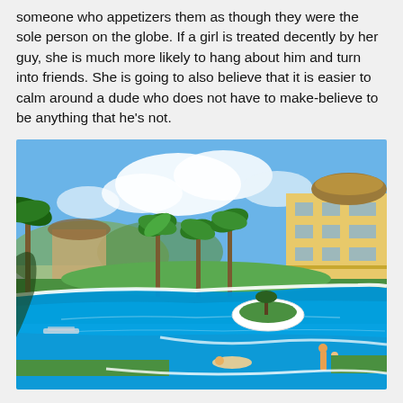someone who appetizers them as though they were the sole person on the globe. If a girl is treated decently by her guy, she is much more likely to hang about him and turn into friends. She is going to also believe that it is easier to calm around a dude who does not have to make-believe to be anything that he's not.
[Figure (photo): Aerial view of a tropical resort with a large winding blue swimming pool, palm trees, green lawn areas, thatched-roof structures, and yellow multi-story hotel buildings under a blue sky with clouds. People are visible relaxing by the pool.]